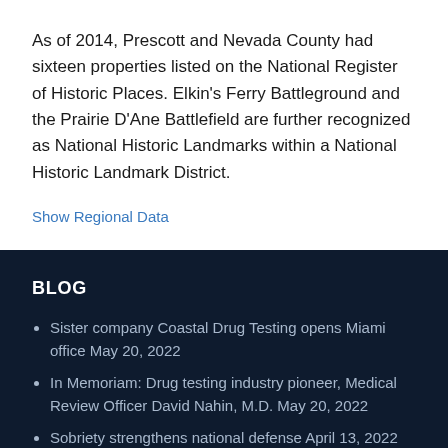As of 2014, Prescott and Nevada County had sixteen properties listed on the National Register of Historic Places. Elkin's Ferry Battleground and the Prairie D'Ane Battlefield are further recognized as National Historic Landmarks within a National Historic Landmark District.
Show Regional Data
BLOG
Sister company Coastal Drug Testing opens Miami office May 20, 2022
In Memoriam: Drug testing industry pioneer, Medical Review Officer David Nahin, M.D. May 20, 2022
Sobriety strengthens national defense April 13, 2022